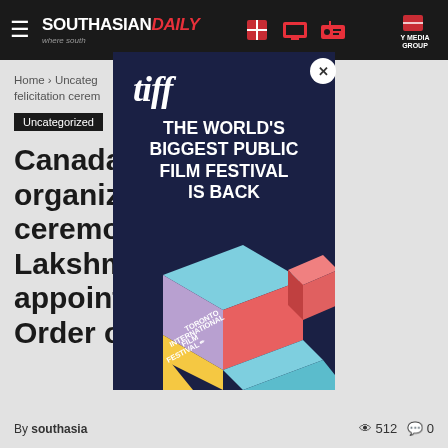SOUTHASIANDAILY — where south [Asian stories are told]
Home › Uncategorized › … organized the felicitation ceremony
Uncategorized
Canada-… organized … ceremony … Lakshma… … appointment … the Order of …
By southasia… | 512 views | 0 comments
[Figure (advertisement): TIFF Toronto International Film Festival popup advertisement with dark navy background. Shows 'tiff' logo in italic white text, tagline 'THE WORLD'S BIGGEST PUBLIC FILM FESTIVAL IS BACK' in bold white uppercase text, and illustrated 3D box graphic at bottom with Toronto International Film Festival branding. Close button (X) in top right corner.]